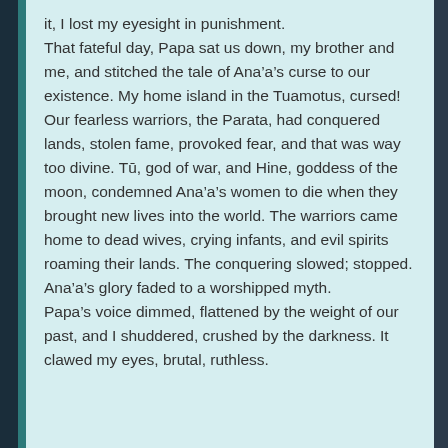it, I lost my eyesight in punishment.
That fateful day, Papa sat us down, my brother and me, and stitched the tale of Ana’a’s curse to our existence. My home island in the Tuamotus, cursed! Our fearless warriors, the Parata, had conquered lands, stolen fame, provoked fear, and that was way too divine. Tū, god of war, and Hine, goddess of the moon, condemned Ana’a’s women to die when they brought new lives into the world. The warriors came home to dead wives, crying infants, and evil spirits roaming their lands. The conquering slowed; stopped. Ana’a’s glory faded to a worshipped myth.
Papa’s voice dimmed, flattened by the weight of our past, and I shuddered, crushed by the darkness. It clawed my eyes, brutal, ruthless.